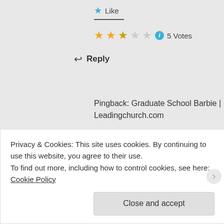★ Like
★★★☆☆ ℹ 5 Votes
↩ Reply
Pingback: Graduate School Barbie | Leadingchurch.com
ErzulieRedEyesArtandSpirit
JUNE 8, 2012 AT 1:37 AM
Privacy & Cookies: This site uses cookies. By continuing to use this website, you agree to their use.
To find out more, including how to control cookies, see here: Cookie Policy
Close and accept